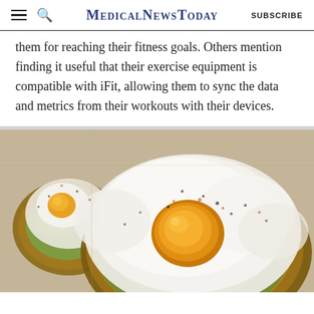MedicalNewsToday | SUBSCRIBE
them for reaching their fitness goals. Others mention finding it useful that their exercise equipment is compatible with iFit, allowing them to sync the data and metrics from their workouts with their devices.
[Figure (photo): Overhead close-up photo of avocado toast topped with a fried egg sprinkled with black pepper, on parchment paper. A second piece of avocado toast is partially visible on the left.]